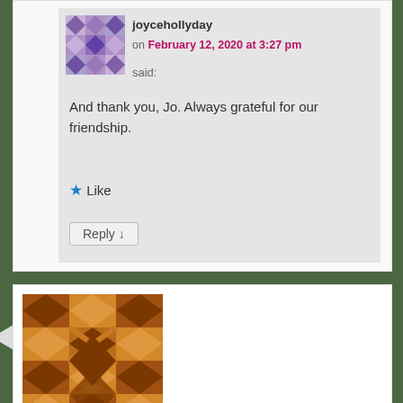joycehollyday on February 12, 2020 at 3:27 pm said:
And thank you, Jo. Always grateful for our friendship.
★ Like
Reply ↓
[Figure (illustration): Geometric avatar icon with purple/lilac diamond pattern grid]
Douglas Phillips on February 11, 2020 at 6:45 pm said:
[Figure (illustration): Geometric avatar icon with brown/orange diamond and X pattern grid]
These are healing words that put our own fears in proper perspective. Thanks, Joyce.